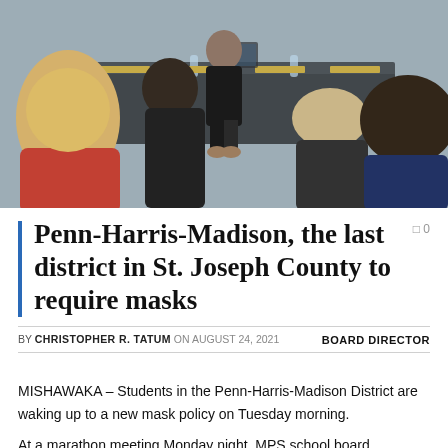[Figure (photo): Photo of people seated at a school board meeting table, viewed from behind, with people in red, dark navy, and black clothing visible.]
Penn-Harris-Madison, the last district in St. Joseph County to require masks
BY CHRISTOPHER R. TATUM ON AUGUST 24, 2021   BOARD DIRECTOR
MISHAWAKA – Students in the Penn-Harris-Madison District are waking up to a new mask policy on Tuesday morning.
At a marathon meeting Monday night, MPS school board